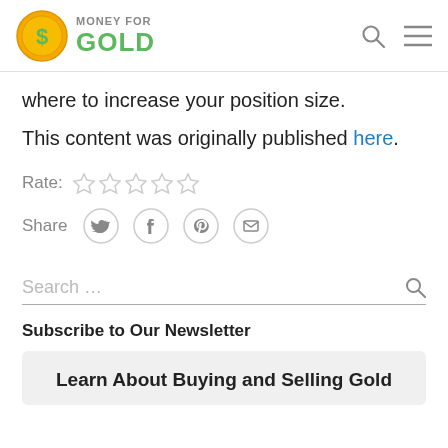[Figure (logo): Money For Gold logo with gold coin icon and green GOLD text]
where to increase your position size.
This content was originally published here.
Rate: ☆☆☆☆☆
Share [Twitter] [Facebook] [Pinterest] [Email]
Search ...
Subscribe to Our Newsletter
Learn About Buying and Selling Gold